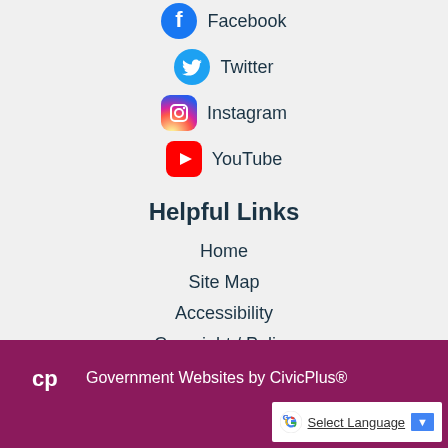Facebook
Twitter
Instagram
YouTube
Helpful Links
Home
Site Map
Accessibility
Copyright / Policy
Government Websites by CivicPlus®
Select Language